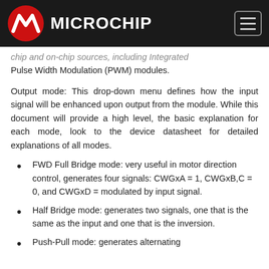Microchip
chip and on-chip sources, including Integrated Pulse Width Modulation (PWM) modules.
Output mode: This drop-down menu defines how the input signal will be enhanced upon output from the module. While this document will provide a high level, the basic explanation for each mode, look to the device datasheet for detailed explanations of all modes.
FWD Full Bridge mode: very useful in motor direction control, generates four signals: CWGxA = 1, CWGxB,C = 0, and CWGxD = modulated by input signal.
Half Bridge mode: generates two signals, one that is the same as the input and one that is the inversion.
Push-Pull mode: generates alternating ...